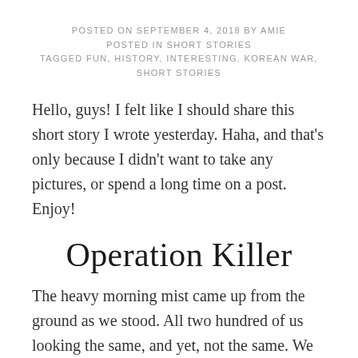POSTED ON SEPTEMBER 4, 2018 BY AMIE
POSTED IN SHORT STORIES
TAGGED FUN, HISTORY, INTERESTING, KOREAN WAR, SHORT STORIES
Hello, guys!  I felt like I should share this short story I wrote yesterday.  Haha, and that's only because I didn't want to take any pictures, or spend a long time on a post.  Enjoy!
Operation Killer
The heavy morning mist came up from the ground as we stood.  All two hundred of us looking the same, and yet, not the same.  We